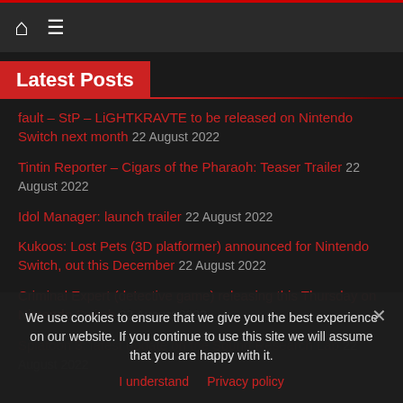Home | Menu
Latest Posts
fault – StP – LiGHTKRAVTE to be released on Nintendo Switch next month 22 August 2022
Tintin Reporter – Cigars of the Pharaoh: Teaser Trailer 22 August 2022
Idol Manager: launch trailer 22 August 2022
Kukoos: Lost Pets (3D platformer) announced for Nintendo Switch, out this December 22 August 2022
Criminal Expert (detective game) releasing this Thursday on Nintendo Switch 22 August 2022
Splatoon 3: latest update on the Sound Research Lab 22 August 2022
We use cookies to ensure that we give you the best experience on our website. If you continue to use this site we will assume that you are happy with it.
I understand   Privacy policy